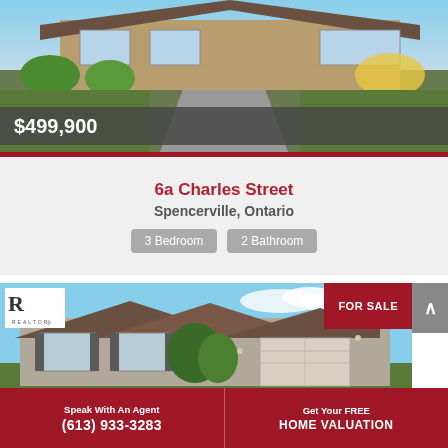[Figure (photo): Exterior photo of a residential property with driveway and green lawn, partially cropped at top]
$499,900
6a Charles Street
Spencercville, Ontario
3 Bedroom
2 Bathroom
[Figure (photo): Exterior photo of a brick bungalow house with garage, FOR SALE badge, blue sky background, with REALTOR logo overlay]
Speak With An Agent
(613) 933-3283
Get Your FREE
HOME VALUATION